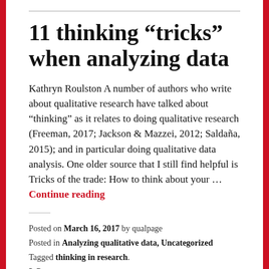11 thinking “tricks” when analyzing data
Kathryn Roulston A number of authors who write about qualitative research have talked about “thinking” as it relates to doing qualitative research (Freeman, 2017; Jackson & Mazzei, 2012; Saldaña, 2015); and in particular doing qualitative data analysis. One older source that I still find helpful is Tricks of the trade: How to think about your … Continue reading
Posted on March 16, 2017 by qualpage
Posted in Analyzing qualitative data, Uncategorized
Tagged thinking in research.
2 Comments